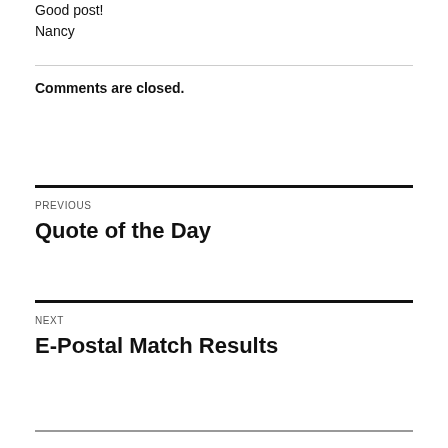Good post!
Nancy
Comments are closed.
PREVIOUS
Quote of the Day
NEXT
E-Postal Match Results